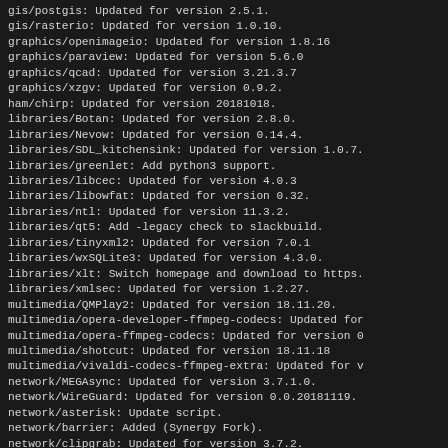gis/postgis: Updated for version 2.5.1.
gis/rasterio: Updated for version 1.0.10.
graphics/openimageio: Updated for version 1.8.16
graphics/paraview: Updated for version 5.6.0
graphics/qcad: Updated for version 3.21.3.7
graphics/xzgv: Updated for version 0.9.2.
ham/chirp: Updated for version 20181018.
libraries/Botan: Updated for version 2.8.0.
libraries/Nevow: Updated for version 0.14.4.
libraries/SDL_kitchensink: Updated for version 1.0.7.
libraries/greenlet: Add python3 support.
libraries/libcec: Updated for version 4.0.3
libraries/libowfat: Updated for version 0.32.
libraries/ntl: Updated for version 11.3.2.
libraries/qt5: Add -legacy check to slackbuild.
libraries/tinyxml2: Updated for version 7.0.1
libraries/wxSQLite3: Updated for version 4.3.0.
libraries/xlt: Switch homepage and download to https.
libraries/xmlsec: Updated for version 1.2.27.
multimedia/QMPlay2: Updated for version 18.11.20.
multimedia/opera-developer-ffmpeg-codecs: Updated for
multimedia/opera-ffmpeg-codecs: Updated for version 0
multimedia/shotcut: Updated for version 18.11.18
multimedia/vivaldi-codecs-ffmpeg-extra: Updated for v
network/MEGAsync: Updated for version 3.7.1.0.
network/WireGuard: Updated for version 0.0.20181119.
network/asterisk: Update script.
network/barrier: Added (Synergy Fork).
network/clipgrab: Updated for version 3.7.2.
network/cowpatty: Updated for version 4.8